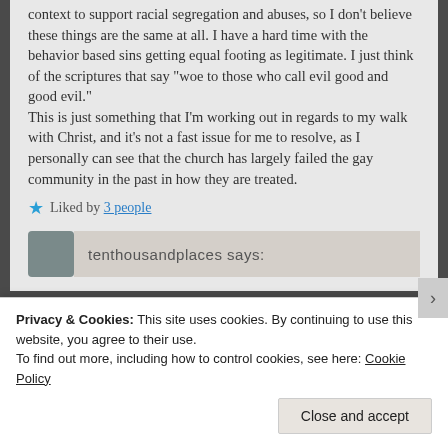context to support racial segregation and abuses, so I don't believe these things are the same at all. I have a hard time with the behavior based sins getting equal footing as legitimate. I just think of the scriptures that say "woe to those who call evil good and good evil."
This is just something that I'm working out in regards to my walk with Christ, and it's not a fast issue for me to resolve, as I personally can see that the church has largely failed the gay community in the past in how they are treated.
★ Liked by 3 people
Privacy & Cookies: This site uses cookies. By continuing to use this website, you agree to their use.
To find out more, including how to control cookies, see here: Cookie Policy
Close and accept